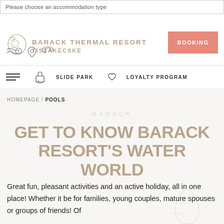Please choose an accommodation type
BARACK THERMAL RESORT TISZAKÉCSKE
BOOKING
SLIDE PARK   LOYALTY PROGRAM
HOMEPAGE / POOLS
GET TO KNOW BARACK RESORT'S WATER WORLD
Great fun, pleasant activities and an active holiday, all in one place! Whether it be for families, young couples, mature spouses or groups of friends! Of